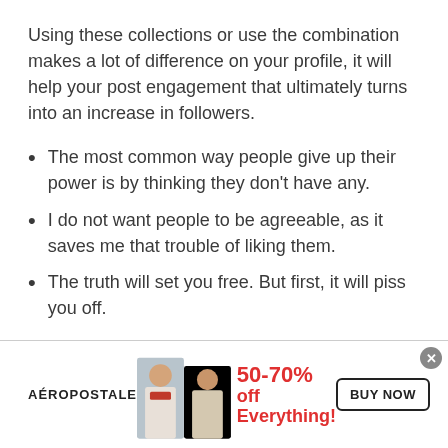Using these collections or use the combination makes a lot of difference on your profile, it will help your post engagement that ultimately turns into an increase in followers.
The most common way people give up their power is by thinking they don't have any.
I do not want people to be agreeable, as it saves me that trouble of liking them.
The truth will set you free. But first, it will piss you off.
[Figure (infographic): Advertisement banner for Aéropostale showing two young women models, text '50-70% off Everything!' in red, and a 'BUY NOW' button.]